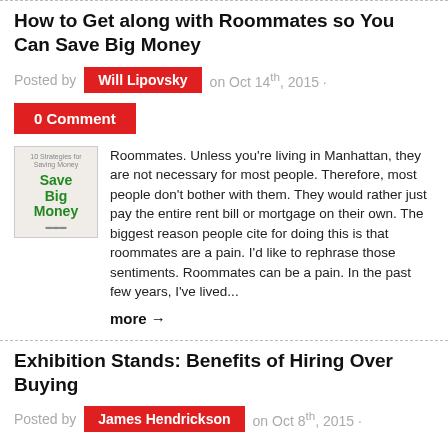How to Get along with Roommates so You Can Save Big Money
Posted by Will Lipovsky on Oct 14th, 2015 ·
0 Comment
[Figure (illustration): Book cover image showing 'Save Big Money' text in green on a white/beige background]
Roommates. Unless you're living in Manhattan, they are not necessary for most people. Therefore, most people don't bother with them. They would rather just pay the entire rent bill or mortgage on their own. The biggest reason people cite for doing this is that roommates are a pain. I'd like to rephrase those sentiments. Roommates can be a pain. In the past few years, I've lived...
more →
Exhibition Stands: Benefits of Hiring Over Buying
Posted by James Hendrickson on Oct 8th, 2015 ·